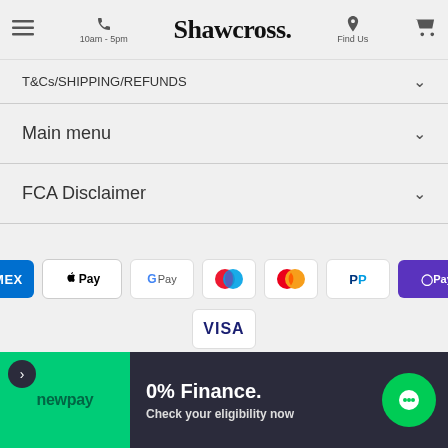Shawcross. 10am - 5pm | Find Us
T&Cs/SHIPPING/REFUNDS
Main menu
FCA Disclaimer
[Figure (other): Payment method icons: AMEX, Apple Pay, Google Pay, Maestro, Mastercard, PayPal, OPay, VISA]
FAQ Page For Newpay Finance | Privacy Policy | Buying Guide | Refund Policy | Shipping Policy | Terms of Service |
0% Finance. Check your eligibility now